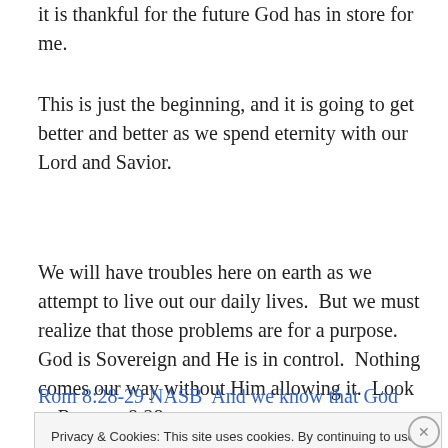it is thankful for the future God has in store for me.
This is just the beginning, and it is going to get better and better as we spend eternity with our Lord and Savior.
We will have troubles here on earth as we attempt to live out our daily lives.  But we must realize that those problems are for a purpose.  God is Sovereign and He is in control.  Nothing comes our way without Him allowing it.  Look at Romans 8:28.
Rom 8:28-29 NASB  And we know that God causes all
Privacy & Cookies: This site uses cookies. By continuing to use this website, you agree to their use.
To find out more, including how to control cookies, see here: Cookie Policy
Close and accept